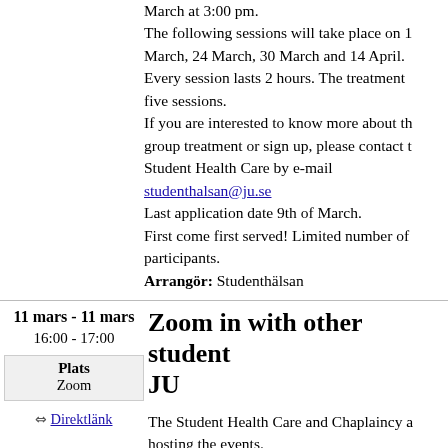March at 3:00 pm.
The following sessions will take place on 1 March, 24 March, 30 March and 14 April.
Every session lasts 2 hours. The treatment five sessions.
If you are interested to know more about the group treatment or sign up, please contact the Student Health Care by e-mail studenthalsan@ju.se
Last application date 9th of March.
First come first served! Limited number of participants.
Arrangör: Studenthälsan
11 mars - 11 mars
16:00 - 17:00
Plats
Zoom
Direktlänk
Zoom in with other students at JU
The Student Health Care and Chaplaincy are hosting the events.
Comments made by other participants in the talks: "inspiring", " a relief", "community"
Dates: 11 March, 25 March, and 15 April...